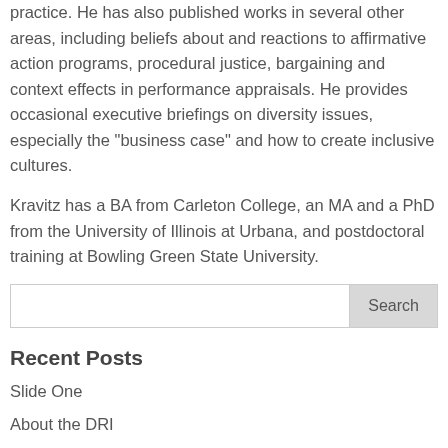practice. He has also published works in several other areas, including beliefs about and reactions to affirmative action programs, procedural justice, bargaining and context effects in performance appraisals. He provides occasional executive briefings on diversity issues, especially the “business case” and how to create inclusive cultures.
Kravitz has a BA from Carleton College, an MA and a PhD from the University of Illinois at Urbana, and postdoctoral training at Bowling Green State University.
Search
Recent Posts
Slide One
About the DRI
DRI Journal